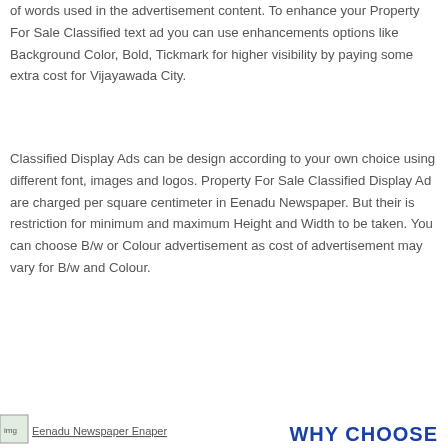of words used in the advertisement content. To enhance your Property For Sale Classified text ad you can use enhancements options like Background Color, Bold, Tickmark for higher visibility by paying some extra cost for Vijayawada City.
Classified Display Ads can be design according to your own choice using different font, images and logos. Property For Sale Classified Display Ad are charged per square centimeter in Eenadu Newspaper. But their is restriction for minimum and maximum Height and Width to be taken. You can choose B/w or Colour advertisement as cost of advertisement may vary for B/w and Colour.
[Figure (other): Eenadu Newspaper Enaper logo/image at bottom left]
WHY CHOOSE